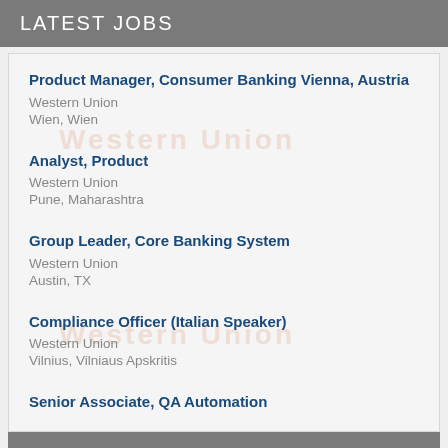LATEST JOBS
Product Manager, Consumer Banking Vienna, Austria
Western Union
Wien, Wien
Analyst, Product
Western Union
Pune, Maharashtra
Group Leader, Core Banking System
Western Union
Austin, TX
Compliance Officer (Italian Speaker)
Western Union
Vilnius, Vilniaus Apskritis
Senior Associate, QA Automation
ABOUT OUR PARTNERS